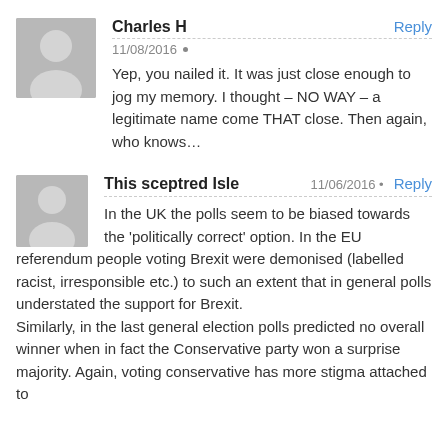[Figure (illustration): User avatar placeholder (grey silhouette) for Charles H]
Charles H
Reply
11/08/2016 •
Yep, you nailed it. It was just close enough to jog my memory. I thought – NO WAY – a legitimate name come THAT close. Then again, who knows…
[Figure (illustration): User avatar placeholder (grey silhouette) for This sceptred Isle]
This sceptred Isle
11/06/2016 •
Reply
In the UK the polls seem to be biased towards the 'politically correct' option. In the EU referendum people voting Brexit were demonised (labelled racist, irresponsible etc.) to such an extent that in general polls understated the support for Brexit.
Similarly, in the last general election polls predicted no overall winner when in fact the Conservative party won a surprise majority. Again, voting conservative has more stigma attached to